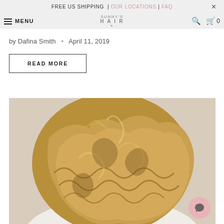FREE US SHIPPING | OUR LOCATIONS | FAQ
MENU  SUNNY'S HAIR  0
by Dafina Smith • April 11, 2019
READ MORE
[Figure (photo): Back view of a woman with long, voluminous, curly/wavy blonde-brown hair showing beautiful waves and texture]